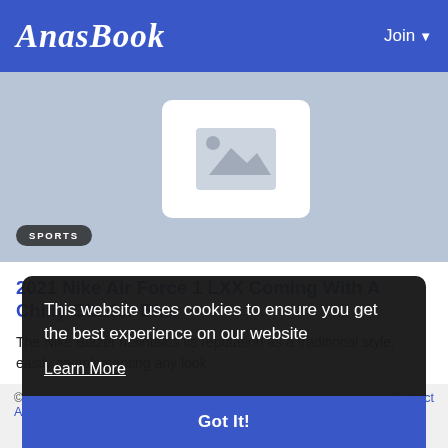AnasBook  Join
[Figure (illustration): Placeholder image with mountain/image icon on light blue-grey background with SPORTS badge]
2021 Nike Air Force 1 LXX Coming With A Chilly Glacier Blue
The Nike Blazer maintains its reputation as a traditional style, easily complementing any look.
This website uses cookies to ensure you get the best experience on our website
Learn More
Got It!
© About Us  Contact